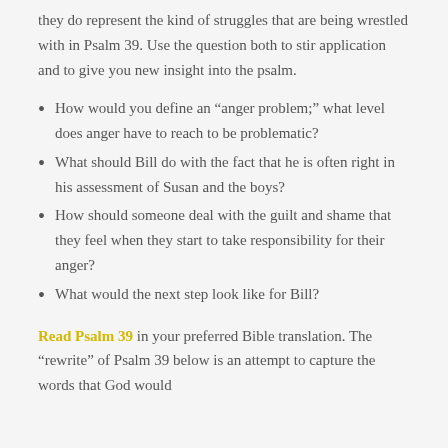they do represent the kind of struggles that are being wrestled with in Psalm 39. Use the question both to stir application and to give you new insight into the psalm.
How would you define an “anger problem;” what level does anger have to reach to be problematic?
What should Bill do with the fact that he is often right in his assessment of Susan and the boys?
How should someone deal with the guilt and shame that they feel when they start to take responsibility for their anger?
What would the next step look like for Bill?
Read Psalm 39 in your preferred Bible translation. The “rewrite” of Psalm 39 below is an attempt to capture the words that God would...